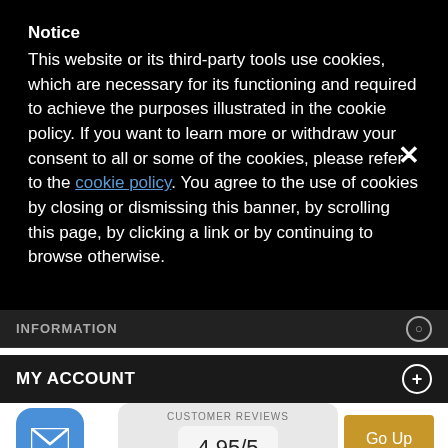Notice
This website or its third-party tools use cookies, which are necessary for its functioning and required to achieve the purposes illustrated in the cookie policy. If you want to learn more or withdraw your consent to all or some of the cookies, please refer to the cookie policy. You agree to the use of cookies by closing or dismissing this banner, by scrolling this page, by clicking a link or by continuing to browse otherwise.
INFORMATION
MY ACCOUNT
[Figure (screenshot): Blue rounded square email icon]
CUSTOMER REVIEWS
4.95/5
Go Up